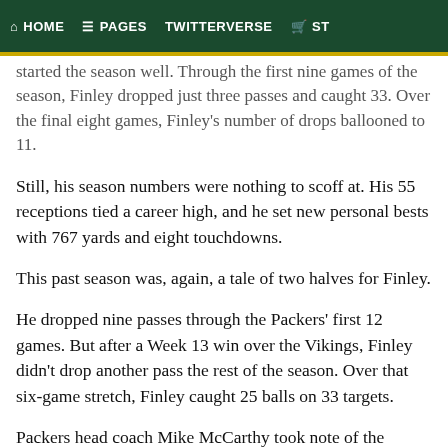HOME   PAGES   TWITTERVERSE   ST
started the season well. Through the first nine games of the season, Finley dropped just three passes and caught 33. Over the final eight games, Finley's number of drops ballooned to 11.
Still, his season numbers were nothing to scoff at. His 55 receptions tied a career high, and he set new personal bests with 767 yards and eight touchdowns.
This past season was, again, a tale of two halves for Finley.
He dropped nine passes through the Packers' first 12 games. But after a Week 13 win over the Vikings, Finley didn't drop another pass the rest of the season. Over that six-game stretch, Finley caught 25 balls on 33 targets.
Packers head coach Mike McCarthy took note of the improvement by praising Finley after the season.